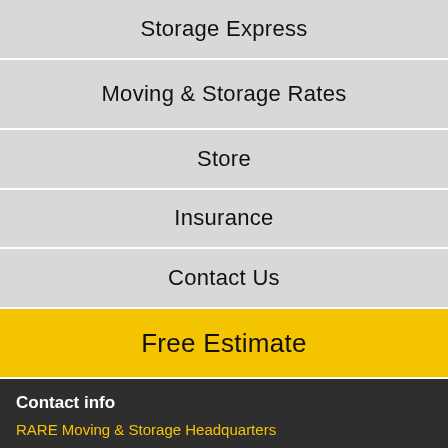Storage Express
Moving & Storage Rates
Store
Insurance
Contact Us
Free Estimate
Contact info
RARE Moving & Storage Headquarters